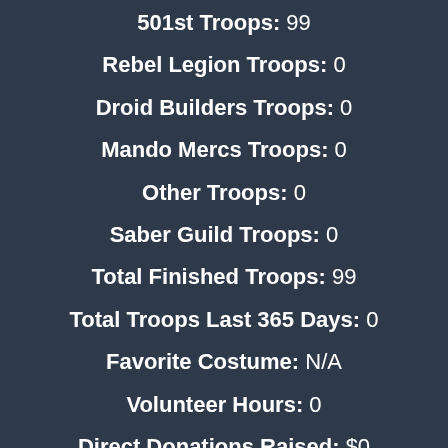501st Troops: 99
Rebel Legion Troops: 0
Droid Builders Troops: 0
Mando Mercs Troops: 0
Other Troops: 0
Saber Guild Troops: 0
Total Finished Troops: 99
Total Troops Last 365 Days: 0
Favorite Costume: N/A
Volunteer Hours: 0
Direct Donations Raised: $0